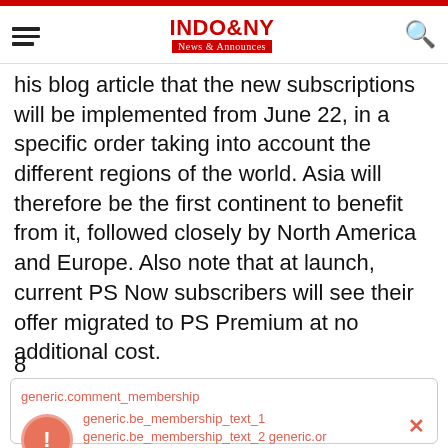INDO & NY News & Announces
his blog article that the new subscriptions will be implemented from June 22, in a specific order taking into account the different regions of the world. Asia will therefore be the first continent to benefit from it, followed closely by North America and Europe. Also note that at launch, current PS Now subscribers will see their offer migrated to PS Premium at no additional cost.
8
generic.comment_membership generic.be_membership_text_1 generic.be_membership_text_2 generic.or generic.be_membership_text_3.